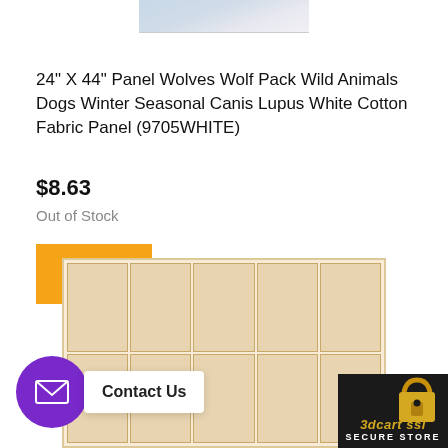[Figure (photo): Top portion of a wolf/winter scene product image, cropped at top of page]
24" X 44" Panel Wolves Wolf Pack Wild Animals Dogs Winter Seasonal Canis Lupus White Cotton Fabric Panel (9705WHITE)
$8.63
Out of Stock
BUY
[Figure (photo): Grid of fabric panel product images showing illustrated scenes with characters, arranged in 2 rows of 5 columns]
Contact Us
[Figure (logo): 3dcart SSL Secure Store badge with gold padlock icon on dark background]